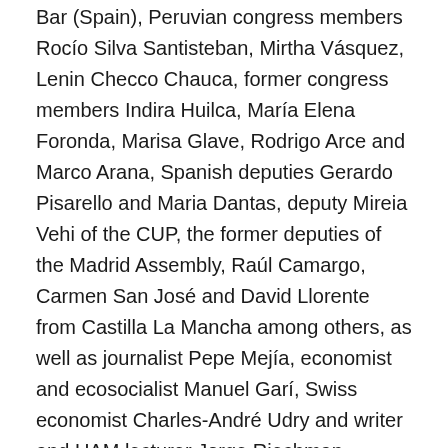Bar (Spain), Peruvian congress members Rocío Silva Santisteban, Mirtha Vásquez, Lenin Checco Chauca, former congress members Indira Huilca, María Elena Foronda, Marisa Glave, Rodrigo Arce and Marco Arana, Spanish deputies Gerardo Pisarello and Maria Dantas, deputy Mireia Vehi of the CUP, the former deputies of the Madrid Assembly, Raúl Camargo, Carmen San José and David Llorente from Castilla La Mancha among others, as well as journalist Pepe Mejía, economist and ecosocialist Manuel Garí, Swiss economist Charles-André Udry and writer and UAM lecturer Jorge Riechman.
The manifesto responds to a statement issued by the Association of General Officers and Admirals of Peru (ADOGEN-PERU), an association aligned with the